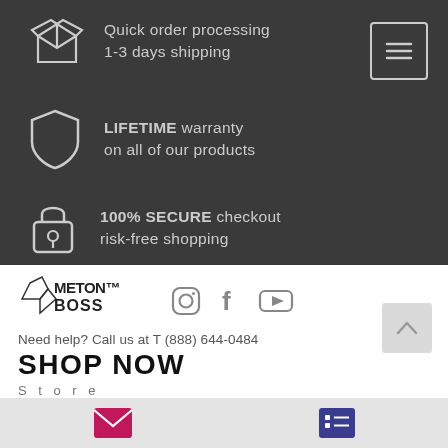Quick order processing 1-3 days shipping
LIFETIME warranty on all of our products
100% SECURE checkout risk-free shopping
[Figure (logo): Meton Boss logo with diamond/crystal shape and stylized text]
[Figure (infographic): Instagram, Facebook, YouTube social media icons in gray]
Need help? Call us at T (888) 644-0484
SHOP NOW
Store
[Figure (infographic): Bottom bar with email icon (pink/magenta) and list/menu icon (dark blue)]